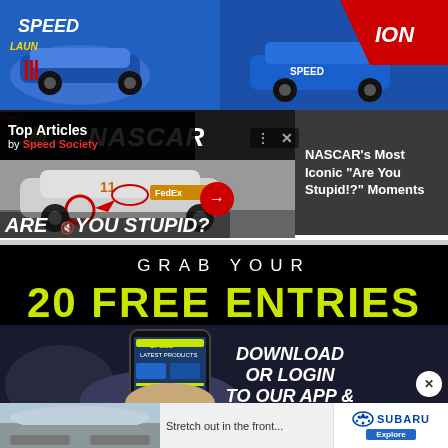[Figure (screenshot): NASCAR ad banner showing toy/diecast cars with 'SPEED' branding and red promotional burst in top right]
[Figure (screenshot): NASCAR 'Are You Stupid?' article thumbnail with race car and red arrow button, alongside Top Articles by Speed Society header and dark right panel with article title]
Top Articles
by Speed Society
NASCAR's Most Iconic “Are You Stupid!?” Moments
ARE YOU STUPID?
[Figure (screenshot): Promotional banner: GRAB YOUR 20 FREE ENTRIES - DOWNLOAD OR LOGIN TO OUR APP & with phone mockup showing Speed Society app]
GRAB YOUR
20 FREE ENTRIES
DOWNLOAD OR LOGIN TO OUR APP &
[Figure (screenshot): Subaru advertisement banner at bottom: 'Stretch out in the front...' with car interior photo and Subaru logo with Explore button]